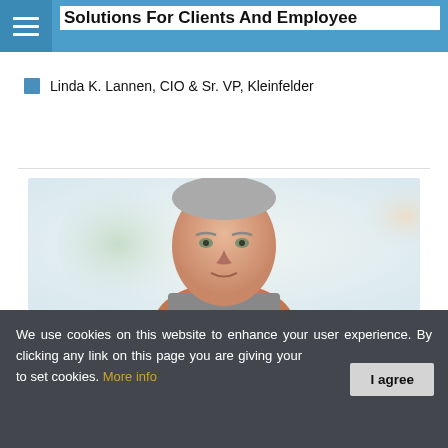Solutions For Clients And Employee
Linda K. Lannen, CIO & Sr. VP, Kleinfelder
[Figure (photo): Headshot photo of a middle-aged man with short gray hair wearing a suit, against a blurred light background with green and orange tones.]
We use cookies on this website to enhance your user experience. By clicking any link on this page you are giving your consent to set cookies. More info